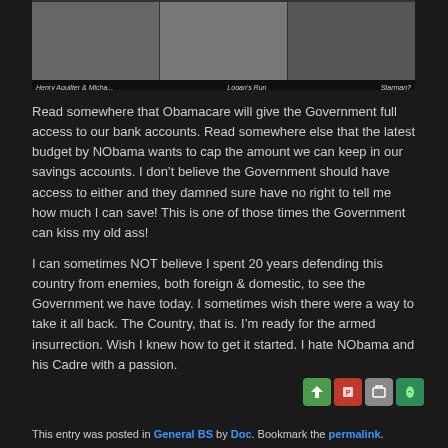[Figure (photo): Photo strip showing three images with captions: 'Henry Aguilter & Micha...', 'Logan's Run', 'Starman?']
Read somewhere that Obamacare will give the Government full access to our bank accounts. Read somewhere else that the latest budget by NObama wants to cap the amount we can keep in our savings accounts. I don’t believe the Government should have access to either and they damned sure have no right to tell me how much I can save! This is one of those times the Government can kiss my old ass!
I can sometimes NOT believe I spent 20 years defending this country from enemies, both foreign & domestic, to see the Government we have today. I sometimes wish there were a way to take it all back. The Country, that is. I’m ready for the armed insurrection. Wish I knew how to get it started. I hate NObama and his Cadre with a passion.
This entry was posted in General BS by Doc. Bookmark the permalink.